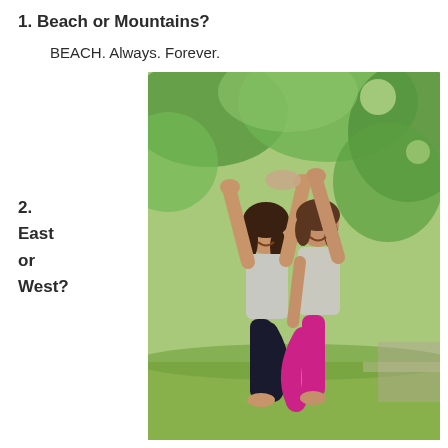1. Beach or Mountains?
BEACH. Always. Forever.
[Figure (photo): Two women in yoga tree pose outdoors, one wearing black pants and grey top, the other wearing pink/magenta pants and grey top, hands raised together above their heads, green leafy background]
2. East or West?